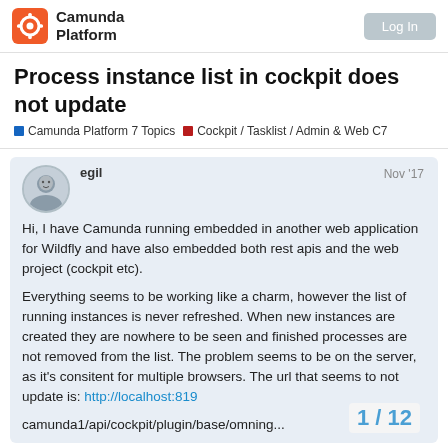Camunda Platform | Log In
Process instance list in cockpit does not update
Camunda Platform 7 Topics   Cockpit / Tasklist / Admin & Web C7
egil  Nov '17
Hi, I have Camunda running embedded in another web application for Wildfly and have also embedded both rest apis and the web project (cockpit etc).

Everything seems to be working like a charm, however the list of running instances is never refreshed. When new instances are created they are nowhere to be seen and finished processes are not removed from the list. The problem seems to be on the server, as it's consitent for multiple browsers. The url that seems to not update is: http://localhost:819.../camunda1/api/cockpit/plugin/base/omning...
1 / 12